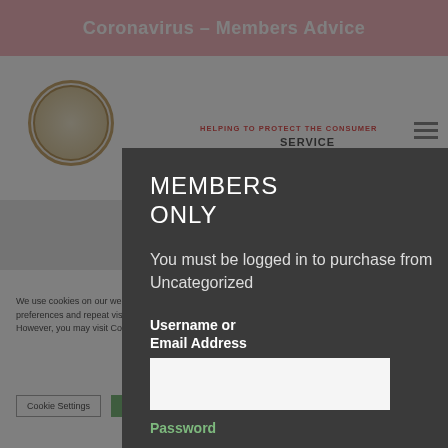Coronavirus – Members Advice
HELPING TO PROTECT THE CONSUMER
SERVICE
ER ASSOCIATION
FIND A SWEEP
BASKET (0)
[Figure (logo): Circular emblem/logo of the association]
We use cookies on our website to give you the most relevant experience by remembering your preferences and repeat visits. By clicking "Accept All", you consent to the use of ALL the cookies. However, you may visit Cookie Settings to provide a controlled consent.
Cookie Settings
Accept All
MEMBERS ONLY
You must be logged in to purchase from Uncategorized
Username or
Email Address
Password